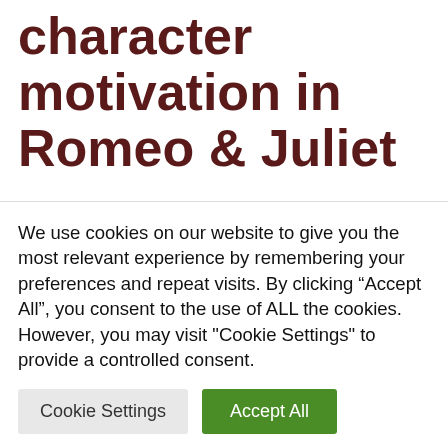character motivation in Romeo & Juliet
by Essay Sauce
When would a parent rethink their position on a plan for their child if the child did not accept it?  Give an example of conflicting
We use cookies on our website to give you the most relevant experience by remembering your preferences and repeat visits. By clicking “Accept All”, you consent to the use of ALL the cookies. However, you may visit "Cookie Settings" to provide a controlled consent.